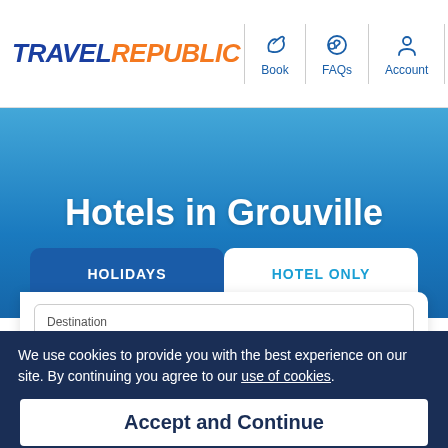TRAVEL REPUBLIC | Book | FAQs | Account | Menu
Hotels in Grouville
HOLIDAYS | HOTEL ONLY
Destination
Grouville
Dates
Add dates
We use cookies to provide you with the best experience on our site. By continuing you agree to our use of cookies.
Accept and Continue